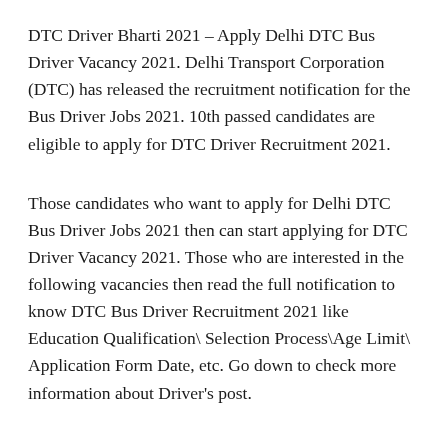DTC Driver Bharti 2021 – Apply Delhi DTC Bus Driver Vacancy 2021. Delhi Transport Corporation (DTC) has released the recruitment notification for the Bus Driver Jobs 2021. 10th passed candidates are eligible to apply for DTC Driver Recruitment 2021.
Those candidates who want to apply for Delhi DTC Bus Driver Jobs 2021 then can start applying for DTC Driver Vacancy 2021. Those who are interested in the following vacancies then read the full notification to know DTC Bus Driver Recruitment 2021 like Education Qualification\Selection Process\Age Limit\ Application Form Date, etc. Go down to check more information about Driver's post.